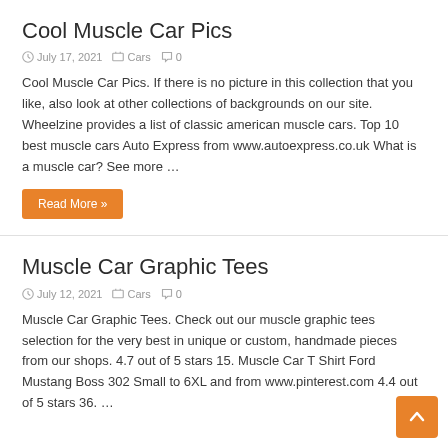Cool Muscle Car Pics
July 17, 2021   Cars   0
Cool Muscle Car Pics. If there is no picture in this collection that you like, also look at other collections of backgrounds on our site. Wheelzine provides a list of classic american muscle cars. Top 10 best muscle cars Auto Express from www.autoexpress.co.uk What is a muscle car? See more …
Read More »
Muscle Car Graphic Tees
July 12, 2021   Cars   0
Muscle Car Graphic Tees. Check out our muscle graphic tees selection for the very best in unique or custom, handmade pieces from our shops. 4.7 out of 5 stars 15. Muscle Car T Shirt Ford Mustang Boss 302 Small to 6XL and from www.pinterest.com 4.4 out of 5 stars 36. …